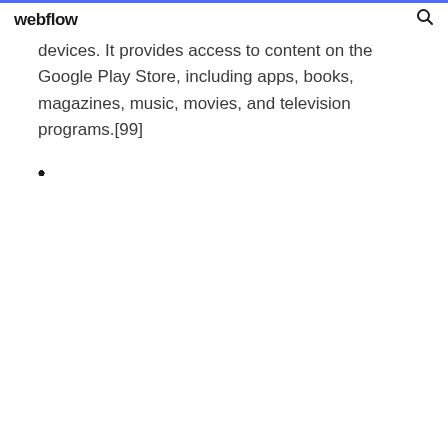webflow
devices. It provides access to content on the Google Play Store, including apps, books, magazines, music, movies, and television programs.[99]